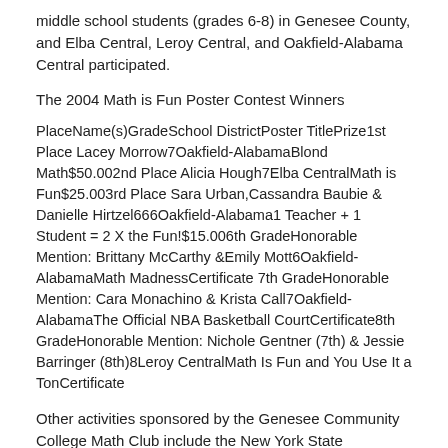middle school students (grades 6-8) in Genesee County, and Elba Central, Leroy Central, and Oakfield-Alabama Central participated.
The 2004 Math is Fun Poster Contest Winners
| Place | Name(s) | Grade | School District | Poster Title | Prize |
| --- | --- | --- | --- | --- | --- |
| 1st Place | Lacey Morrow | 7 | Oakfield-Alabama | Blond Math | $50.00 |
| 2nd Place | Alicia Hough | 7 | Elba Central | Math is Fun | $25.00 |
| 3rd Place | Sara Urban, Cassandra Baubie & Danielle Hirtzel | 666 | Oakfield-Alabama | 1 Teacher + 1 Student = 2 X the Fun! | $15.00 |
| 6th Grade Honorable Mention: | Brittany McCarthy & Emily Mott | 6 | Oakfield-Alabama | Math Madness | Certificate |
| 7th Grade Honorable Mention: | Cara Monachino & Krista Call | 7 | Oakfield-Alabama | The Official NBA Basketball Court | Certificate |
| 8th Grade Honorable Mention: | Nichole Gentner (7th) & Jessie Barringer (8th) | 8 | Leroy Central | Math Is Fun and You Use It a Ton | Certificate |
Other activities sponsored by the Genesee Community College Math Club include the New York State Mathematics Association for Two-Year Colleges' Math Contest (NYSMATYC) which occurs each fall semester and spring semester. The Math Club hosts a pizza lunch for those who participated, and distributes the awards and